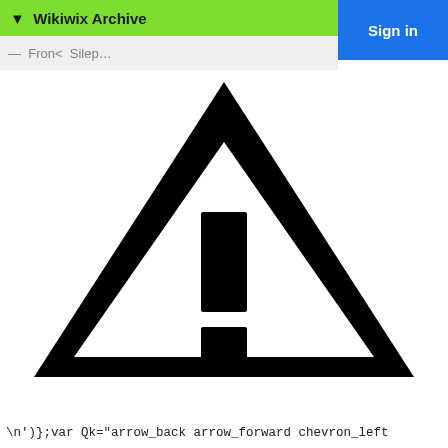▼ Wikiwix Archive
≡  Fron  <  Sile  p  ...
[Figure (illustration): A warning triangle sign (hazard symbol) with an exclamation mark inside, rendered in black on white background.]
\n')};var Qk="arrow_back arrow_forward chevron_left